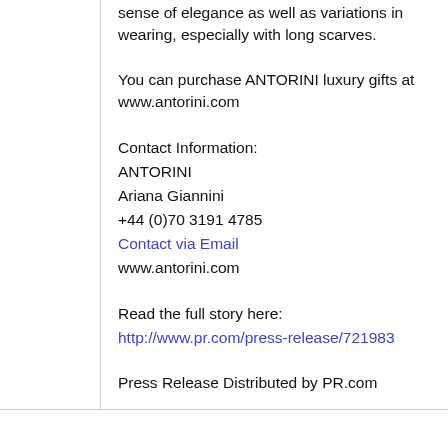sense of elegance as well as variations in wearing, especially with long scarves.
You can purchase ANTORINI luxury gifts at www.antorini.com
Contact Information:
ANTORINI
Ariana Giannini
+44 (0)70 3191 4785
Contact via Email
www.antorini.com
Read the full story here:
http://www.pr.com/press-release/721983
Press Release Distributed by PR.com